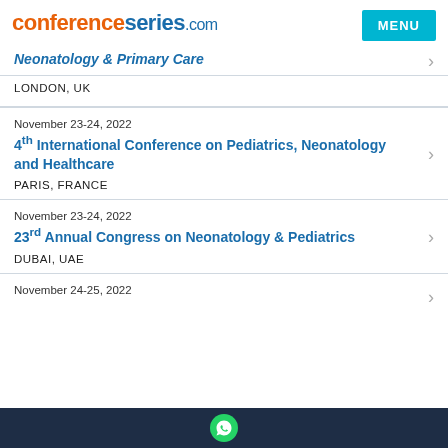conferenceseries.com
Neonatology & Primary Care
LONDON, UK
November 23-24, 2022
4th International Conference on Pediatrics, Neonatology and Healthcare
PARIS, FRANCE
November 23-24, 2022
23rd Annual Congress on Neonatology & Pediatrics
DUBAI, UAE
November 24-25, 2022